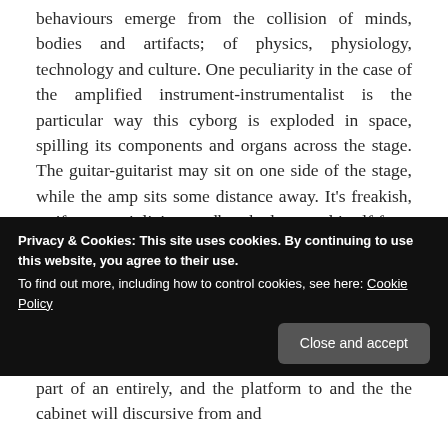behaviours emerge from the collision of minds, bodies and artifacts; of physics, physiology, technology and culture. One peculiarity in the case of the amplified instrument-instrumentalist is the particular way this cyborg is exploded in space, spilling its components and organs across the stage. The guitar-guitarist may sit on one side of the stage, while the amp sits some distance away. It’s freakish, as if, say, a violin’s soundbox had severed itself from the rest of the instrument and crawled across the stage.
The speaker cabinet plays a curious part in this cyborg dance. The cabinet is both the
Privacy & Cookies: This site uses cookies. By continuing to use this website, you agree to their use. To find out more, including how to control cookies, see here: Cookie Policy
part of an entirely, and the platform to and the the cabinet will discursive from and